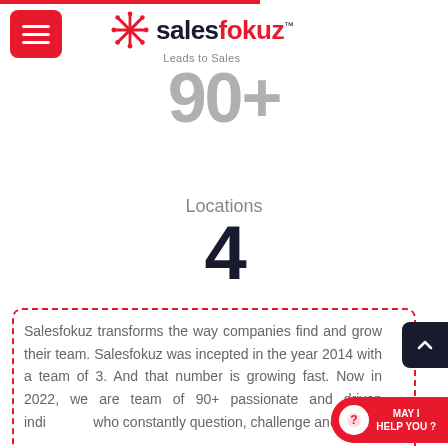[Figure (logo): Salesfokuz logo with snowflake icon and tagline 'Leads to Sales']
90+
Locations
4
Salesfokuz transforms the way companies find and grow their team. Salesfokuz was incepted in the year 2014 with a team of 3. And that number is growing fast. Now in 2022, we are team of 90+ passionate and driven individuals who constantly question, challenge and...